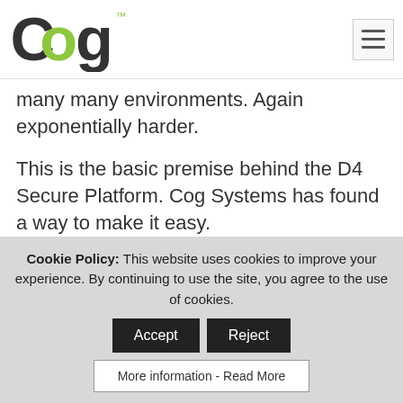Cog Systems logo and navigation menu
many many environments. Again exponentially harder.
This is the basic premise behind the D4 Secure Platform.  Cog Systems has found a way to make it easy.
Cog Systems focuses on bringing Type 1
Cookie Policy:  This website uses cookies to improve your experience. By continuing to use the site, you agree to the use of cookies.